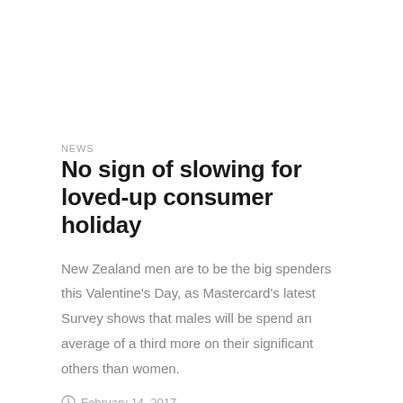NEWS
No sign of slowing for loved-up consumer holiday
New Zealand men are to be the big spenders this Valentine's Day, as Mastercard's latest Survey shows that males will be spend an average of a third more on their significant others than women.
February 14, 2017